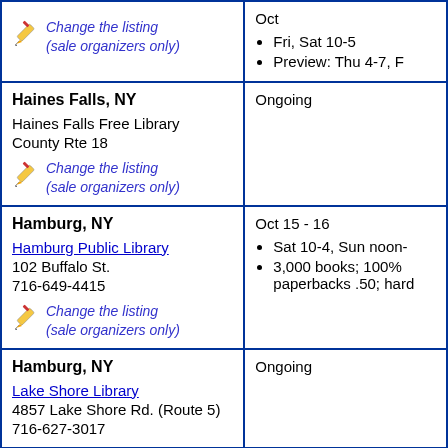| Location | Date/Details |
| --- | --- |
| Change the listing (sale organizers only) | Oct
• Fri, Sat 10-5
• Preview: Thu 4-7, F |
| Haines Falls, NY
Haines Falls Free Library
County Rte 18
Change the listing (sale organizers only) | Ongoing |
| Hamburg, NY
Hamburg Public Library
102 Buffalo St.
716-649-4415
Change the listing (sale organizers only) | Oct 15 - 16
• Sat 10-4, Sun noon-
• 3,000 books; 100% paperbacks .50; hard |
| Hamburg, NY
Lake Shore Library
4857 Lake Shore Rd. (Route 5)
716-627-3017 | Ongoing |